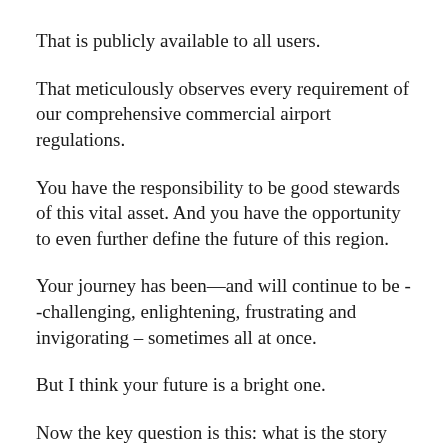That is publicly available to all users.
That meticulously observes every requirement of our comprehensive commercial airport regulations.
You have the responsibility to be good stewards of this vital asset. And you have the opportunity to even further define the future of this region.
Your journey has been—and will continue to be --challenging, enlightening, frustrating and invigorating – sometimes all at once.
But I think your future is a bright one.
Now the key question is this: what is the story that will be written for Ontario International Airport and thebol...